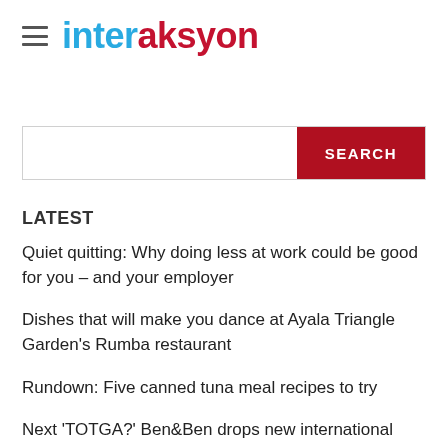interaksyon
LATEST
Quiet quitting: Why doing less at work could be good for you – and your employer
Dishes that will make you dance at Ayala Triangle Garden's Rumba restaurant
Rundown: Five canned tuna meal recipes to try
Next 'TOTGA?' Ben&Ben drops new international single 'The Ones We Once Loved'